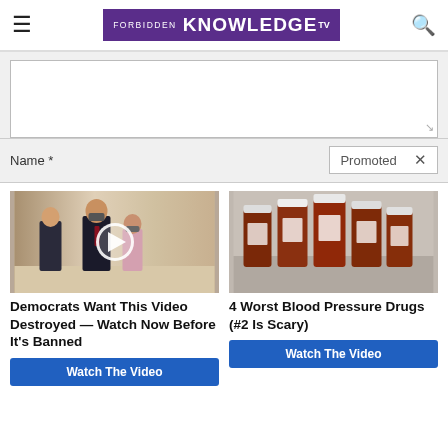FORBIDDEN KNOWLEDGE TV
[Figure (screenshot): Comment form text area with resize handle]
Name *
Promoted ×
[Figure (photo): People walking in suits with masks - video thumbnail with play button overlay]
Democrats Want This Video Destroyed — Watch Now Before It's Banned
Watch The Video
[Figure (photo): Multiple prescription pill bottles arranged in a row]
4 Worst Blood Pressure Drugs (#2 Is Scary)
Watch The Video